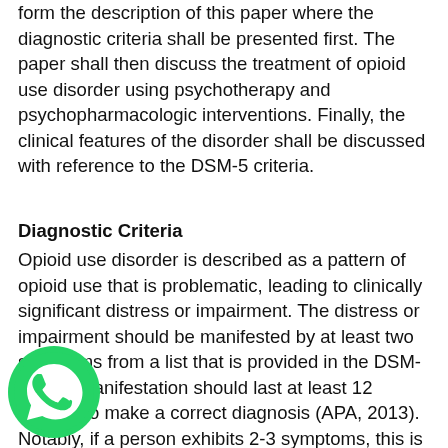form the description of this paper where the diagnostic criteria shall be presented first. The paper shall then discuss the treatment of opioid use disorder using psychotherapy and psychopharmacologic interventions. Finally, the clinical features of the disorder shall be discussed with reference to the DSM-5 criteria.
Diagnostic Criteria
Opioid use disorder is described as a pattern of opioid use that is problematic, leading to clinically significant distress or impairment. The distress or impairment should be manifested by at least two symptoms from a list that is provided in the DSM-5. This manifestation should last at least 12 months to make a correct diagnosis (APA, 2013). Notably, if a person exhibits 2-3 symptoms, this is considered a mild case. If there are 4-5 symptoms, this is considered moderate, and 6 or more symptoms demonstrate a severe case. The symptoms as provided in the DSM-5 list include taking opioids in larger amounts or longer period than intended, persistent desire or
[Figure (logo): WhatsApp logo icon — green circle with white phone/chat icon]